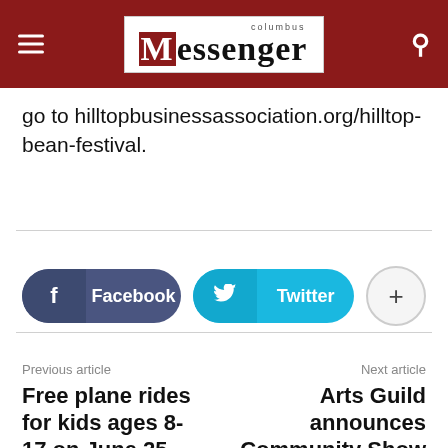Columbus Messenger
go to hilltopbusinessassociation.org/hilltop-bean-festival.
[Figure (other): Social share buttons: Facebook, Twitter, and a plus/more button]
Previous article
Free plane rides for kids ages 8-17 on June 25
Next article
Arts Guild announces Community Show winners